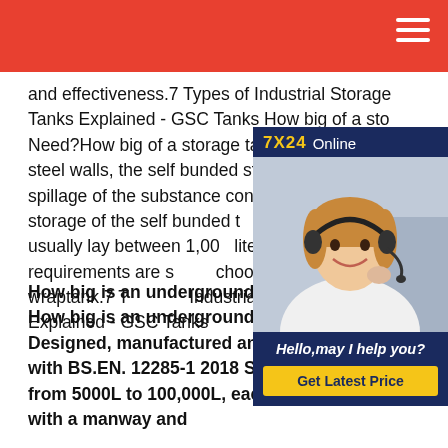and effectiveness.7 Types of Industrial Storage Tanks Explained - GSC Tanks How big of a storage tank do I Need?How big of a storage tank do I Need? double steel walls, the self bunded storage prevents spillage of the substance contained capacity of storage of the self bunded tanks ground tanks usually lay between 1,000 liters. If your storage requirements are small, choose the minor storage wraptank.7 Types of Industrial Storage Tanks Explained - GSC Tanks
[Figure (photo): Customer service representative with headset, chat widget with '7X24 Online' header, 'Hello, may I help you?' text, and 'Get Latest Price' button]
How big is an underground fuel storage tank?How big is an underground fuel storage tank?Designed, manufactured and tested to comply with BS.EN. 12285-1 2018 Spec. Tank Capacity from 5000L to 100,000L, each tank is available with a manway and